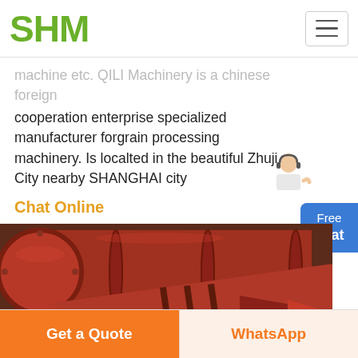SHM
machine etc. QILI Machinery is a chinese foreign cooperation enterprise specialized manufacturer forgrain processing machinery. Is localted in the beautiful Zhuji City nearby SHANGHAI city
Chat Online
[Figure (photo): Close-up photo of red industrial grain processing machinery with cylindrical auger/screw conveyor components]
Free chat
Get a Quote
WhatsApp